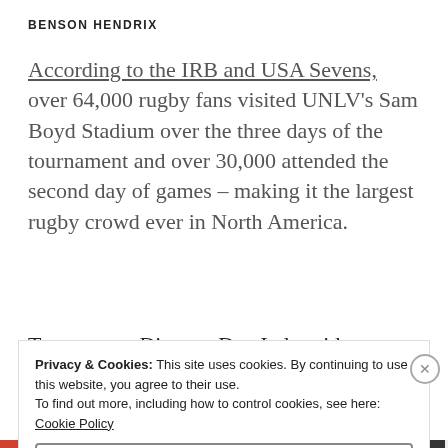BENSON HENDRIX
According to the IRB and USA Sevens, over 64,000 rugby fans visited UNLV's Sam Boyd Stadium over the three days of the tournament and over 30,000 attended the second day of games – making it the largest rugby crowd ever in North America.
Tournament Director Dan Lyle said
We have quite a lot of people from the southern
Privacy & Cookies: This site uses cookies. By continuing to use this website, you agree to their use.
To find out more, including how to control cookies, see here: Cookie Policy
Close and accept